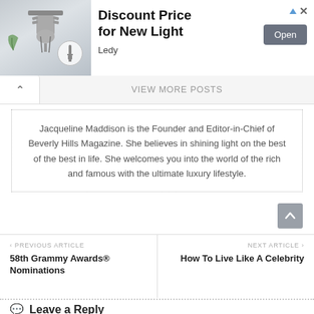[Figure (screenshot): Advertisement banner for 'Discount Price for New Light' by Ledy, with product image on left, bold title text, and an 'Open' button]
View More Posts
Jacqueline Maddison is the Founder and Editor-in-Chief of Beverly Hills Magazine. She believes in shining light on the best of the best in life. She welcomes you into the world of the rich and famous with the ultimate luxury lifestyle.
‹ PREVIOUS ARTICLE
58th Grammy Awards® Nominations
NEXT ARTICLE ›
How To Live Like A Celebrity
Leave a Reply
Your email address will not be published. Required fields are marked *